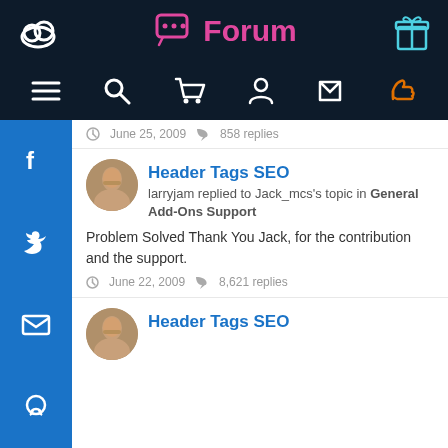Forum
June 25, 2009  858 replies
Header Tags SEO
larryjam replied to Jack_mcs's topic in General Add-Ons Support
Problem Solved Thank You Jack, for the contribution and the support.
June 22, 2009  8,621 replies
Header Tags SEO